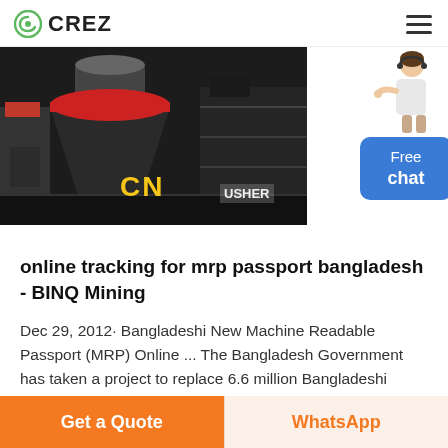CREZ
[Figure (photo): Industrial mining machinery (crusher equipment) in a warehouse setting, with yellow 'CN' text and 'USHER' text overlay. A chat widget with a person illustration and blue 'Free chat' button appears on the right side.]
online tracking for mrp passport bangladesh - BINQ Mining
Dec 29, 2012· Bangladeshi New Machine Readable Passport (MRP) Online ... The Bangladesh Government has taken a project to replace 6.6 million Bangladeshi passports with new machine readable passports (MRP) format. Bangladesh army ... »More detailed
Get a Quote  WhatsApp